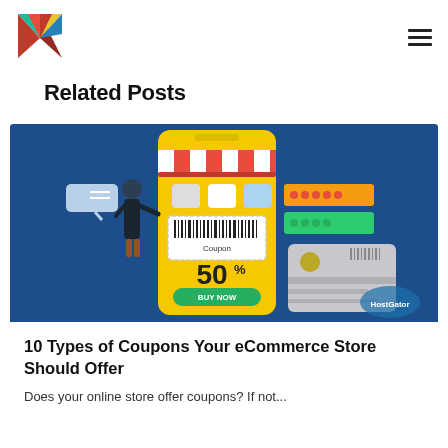Related Posts
[Figure (illustration): eCommerce coupon illustration showing a smartphone with a store awning, a woman browsing, coupon/barcode display showing 50% off, rating bars, and a credit card. HostGator logo in the bottom-right corner. Blue background.]
10 Types of Coupons Your eCommerce Store Should Offer
Does your online store offer coupons? If not...